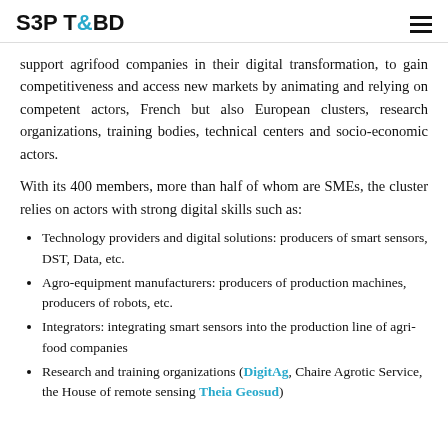S3P T&BD
support agrifood companies in their digital transformation, to gain competitiveness and access new markets by animating and relying on competent actors, French but also European clusters, research organizations, training bodies, technical centers and socio-economic actors.
With its 400 members, more than half of whom are SMEs, the cluster relies on actors with strong digital skills such as:
Technology providers and digital solutions: producers of smart sensors, DST, Data, etc.
Agro-equipment manufacturers: producers of production machines, producers of robots, etc.
Integrators: integrating smart sensors into the production line of agri-food companies
Research and training organizations (DigitAg, Chaire Agrotic Service, the House of remote sensing Theia Geosud)